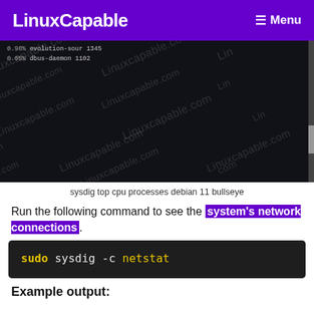LinuxCapable   Menu
[Figure (screenshot): Terminal screenshot showing sysdig top cpu processes output on Debian 11 Bullseye, with LinuxCapable.com watermarks overlaid on a dark background.]
sysdig top cpu processes debian 11 bullseye
Run the following command to see the system's network connections.
sudo sysdig -c netstat
Example output: